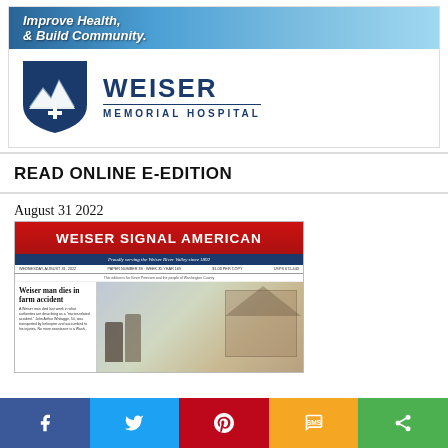[Figure (logo): Weiser Memorial Hospital advertisement with banner text 'Improve Health, & Build Community.' and the hospital logo featuring a blue shield icon with a white cross and mountain wave design, alongside the text 'WEISER MEMORIAL HOSPITAL']
READ ONLINE E-EDITION
August 31 2022
[Figure (screenshot): Thumbnail of the Weiser Signal American newspaper front page dated Wednesday, August 31, 2022. The masthead reads 'WEISER SIGNAL AMERICAN' with the tagline 'Proudly serving the Weiser River Valley since 1892'. The headline reads 'Weiser man dies in farm accident' with a photo of two people standing in front of a building.]
[Figure (other): Social media sharing toolbar at the bottom with five buttons: Facebook (blue), Twitter (light blue), Pinterest (red), SMS (yellow/orange), and Share (green)]